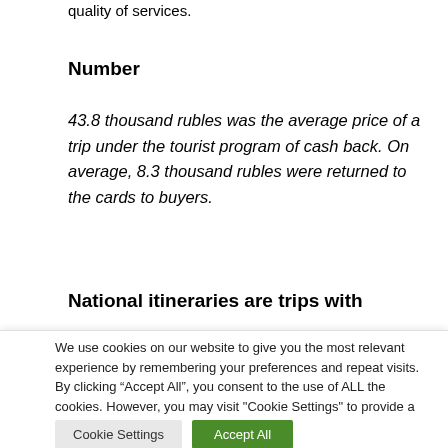quality of services.
Number
43.8 thousand rubles was the average price of a trip under the tourist program of cash back. On average, 8.3 thousand rubles were returned to the cards to buyers.
National itineraries are trips with
We use cookies on our website to give you the most relevant experience by remembering your preferences and repeat visits. By clicking “Accept All”, you consent to the use of ALL the cookies. However, you may visit "Cookie Settings" to provide a controlled consent.